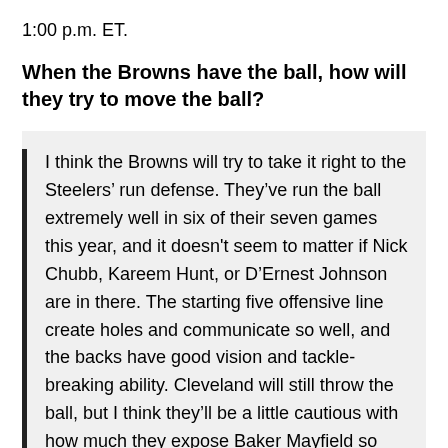1:00 p.m. ET.
When the Browns have the ball, how will they try to move the ball?
I think the Browns will try to take it right to the Steelers’ run defense. They’ve run the ball extremely well in six of their seven games this year, and it doesn’t seem to matter if Nick Chubb, Kareem Hunt, or D’Ernest Johnson are in there. The starting five offensive line create holes and communicate so well, and the backs have good vision and tackle-breaking ability. Cleveland will still throw the ball, but I think they’ll be a little cautious with how much they expose Baker Mayfield so they can protect his shoulder.
Anyone who has watched the Steelers and Browns this season knows this would be Cleveland’s...